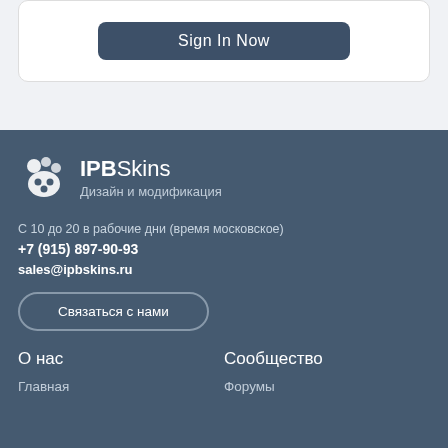Sign In Now
[Figure (logo): IPBSkins logo with game controller icon, text 'IPBSkins' and subtitle 'Дизайн и модификация']
С 10 до 20 в рабочие дни (время московское)
+7 (915) 897-90-93
sales@ipbskins.ru
Связаться с нами
О нас
Сообщество
Главная
Форумы